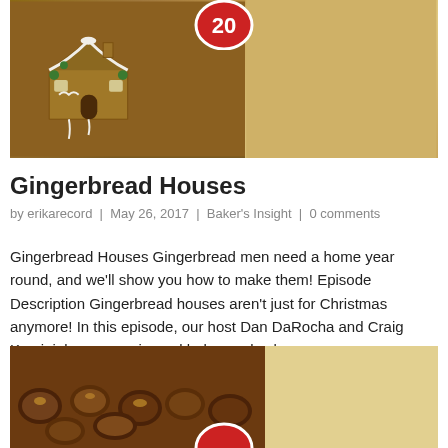[Figure (photo): Photo of gingerbread houses with decorative icing and a red circular badge/logo at the top center. Right side shows a plain gingerbread panel.]
Gingerbread Houses
by erikarecord | May 26, 2017 | Baker's Insight | 0 comments
Gingerbread Houses Gingerbread men need a home year round, and we'll show you how to make them! Episode Description Gingerbread houses aren't just for Christmas anymore! In this episode, our host Dan DaRocha and Craig Kominiak, an experienced baker and sales…
[Figure (photo): Photo of chocolate candies/truffles on a baking sheet with a red circular badge partially visible at the bottom center, and a light-colored background on the right side.]